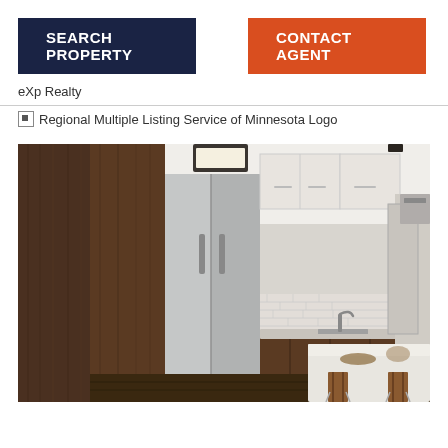[Figure (other): Search Property button (dark navy background, white bold text) and Contact Agent button (orange-red background, white bold text)]
eXp Realty
[Figure (logo): Regional Multiple Listing Service of Minnesota Logo (broken image icon with alt text)]
[Figure (photo): Interior kitchen photo showing modern kitchen with dark wood cabinets, stainless steel refrigerator, white upper cabinets, subway tile backsplash, white kitchen island with bar stools, overhead lighting]